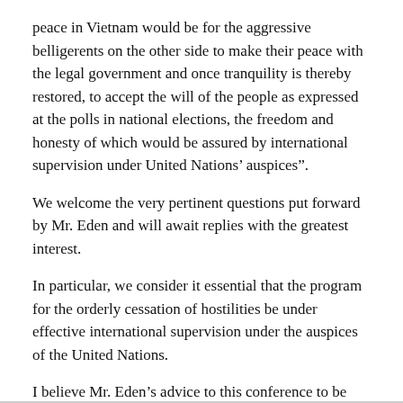peace in Vietnam would be for the aggressive belligerents on the other side to make their peace with the legal government and once tranquility is thereby restored, to accept the will of the people as expressed at the polls in national elections, the freedom and honesty of which would be assured by international supervision under United Nations' auspices".
We welcome the very pertinent questions put forward by Mr. Eden and will await replies with the greatest interest.
In particular, we consider it essential that the program for the orderly cessation of hostilities be under effective international supervision under the auspices of the United Nations.
I believe Mr. Eden’s advice to this conference to be very sound. Therefore, I will not take your time to refer to the all too familiar distorted version of past and present events presented to us this afternoon by the delegate from Communist China. I don’t think they’ll change the considered opinion of anyone in this room, or anywhere else for that matter.
Smith